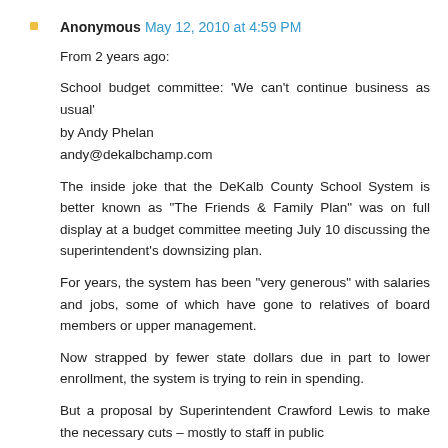Anonymous May 12, 2010 at 4:59 PM
From 2 years ago:

School budget committee: 'We can't continue business as usual'
by Andy Phelan
andy@dekalbchamp.com

The inside joke that the DeKalb County School System is better known as "The Friends & Family Plan" was on full display at a budget committee meeting July 10 discussing the superintendent's downsizing plan.
For years, the system has been "very generous" with salaries and jobs, some of which have gone to relatives of board members or upper management.
Now strapped by fewer state dollars due in part to lower enrollment, the system is trying to rein in spending.
But a proposal by Superintendent Crawford Lewis to make the necessary cuts – mostly to staff in public